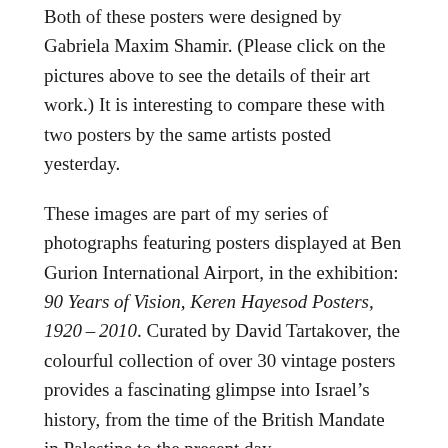Both of these posters were designed by Gabriela Maxim Shamir. (Please click on the pictures above to see the details of their art work.) It is interesting to compare these with two posters by the same artists posted yesterday.
These images are part of my series of photographs featuring posters displayed at Ben Gurion International Airport, in the exhibition: 90 Years of Vision, Keren Hayesod Posters, 1920–2010. Curated by David Tartakover, the colourful collection of over 30 vintage posters provides a fascinating glimpse into Israel's history, from the time of the British Mandate in Palestine to the present day.
Since 1920, Keren Hayesod (the United Israel Appeal, Foundation Fund) has been involved in Israel's